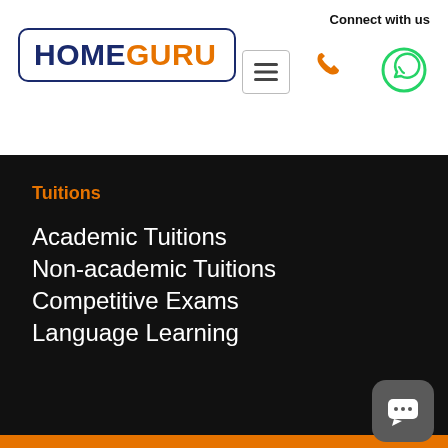[Figure (logo): HomeGuru logo with HOME in navy blue and GURU in orange, inside a rounded rectangle border]
Connect with us
[Figure (illustration): Hamburger menu button icon]
[Figure (illustration): Phone call icon in orange]
[Figure (illustration): WhatsApp icon in green]
Tuitions
Academic Tuitions
Non-academic Tuitions
Competitive Exams
Language Learning
[Figure (logo): HomeGuru logo larger version on orange footer background]
HomeGuru World Pvt Ltd
[Figure (illustration): Social media icons: Facebook, Instagram, YouTube, LinkedIn on orange background]